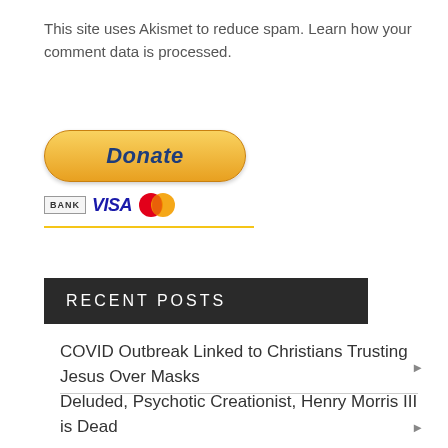This site uses Akismet to reduce spam. Learn how your comment data is processed.
[Figure (other): PayPal Donate button with payment icons (BANK, VISA, Mastercard) and a yellow underline]
RECENT POSTS
COVID Outbreak Linked to Christians Trusting Jesus Over Masks
Deluded, Psychotic Creationist, Henry Morris III is Dead